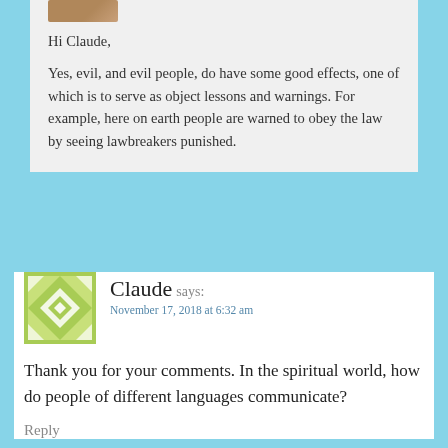[Figure (photo): Partial avatar/profile photo at top of comment, cropped at top edge]
Hi Claude,

Yes, evil, and evil people, do have some good effects, one of which is to serve as object lessons and warnings. For example, here on earth people are warned to obey the law by seeing lawbreakers punished.
[Figure (illustration): Green geometric/quilt pattern avatar icon for user Claude]
Claude says:
November 17, 2018 at 6:32 am
Thank you for your comments. In the spiritual world, how do people of different languages communicate?
Reply